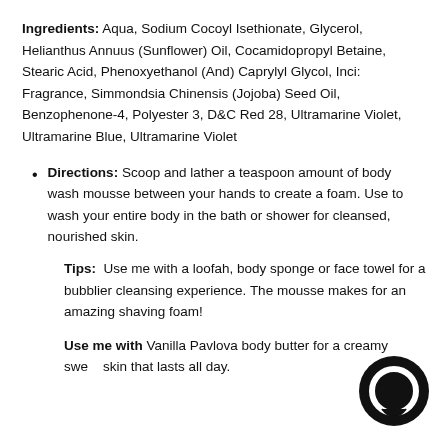Ingredients: Aqua, Sodium Cocoyl Isethionate, Glycerol, Helianthus Annuus (Sunflower) Oil, Cocamidopropyl Betaine, Stearic Acid, Phenoxyethanol (And) Caprylyl Glycol, Inci: Fragrance, Simmondsia Chinensis (Jojoba) Seed Oil, Benzophenone-4, Polyester 3, D&C Red 28, Ultramarine Violet, Ultramarine Blue, Ultramarine Violet
Directions: Scoop and lather a teaspoon amount of body wash mousse between your hands to create a foam. Use to wash your entire body in the bath or shower for cleansed, nourished skin.
Tips: Use me with a loofah, body sponge or face towel for a bubblier cleansing experience. The mousse makes for an amazing shaving foam!
Use me with Vanilla Pavlova body butter for a creamy sweet skin that lasts all day.